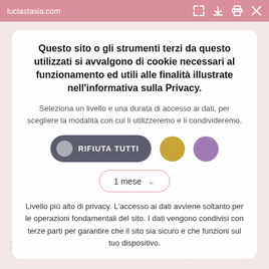luciastasia.com
Questo sito o gli strumenti terzi da questo utilizzati si avvalgono di cookie necessari al funzionamento ed utili alle finalità illustrate nell'informativa sulla Privacy.
Seleziona un livello e una durata di accesso ai dati, per scegliere la modalità con cui li utilizzeremo e li condivideremo.
RIFIUTA TUTTI
1 mese
Livello più alto di privacy. L'accesso ai dati avviene soltanto per le operazioni fondamentali del sito. I dati vengono condivisi con terze parti per garantire che il sito sia sicuro e che funzioni sul tuo dispositivo.